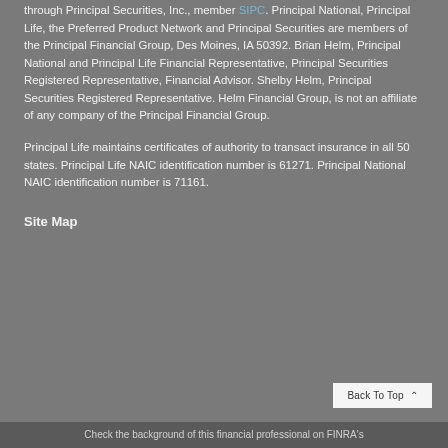through Principal Securities, Inc., member SIPC. Principal National, Principal Life, the Preferred Product Network and Principal Securities are members of the Principal Financial Group, Des Moines, IA 50392. Brian Helm, Principal National and Principal Life Financial Representative, Principal Securities Registered Representative, Financial Advisor. Shelby Helm, Principal Securities Registered Representative. Helm Financial Group, is not an affiliate of any company of the Principal Financial Group.
Principal Life maintains certificates of authority to transact insurance in all 50 states. Principal Life NAIC identification number is 61271. Principal National NAIC identification number is 71161.
Site Map
Check the background of this financial professional on FINRA's